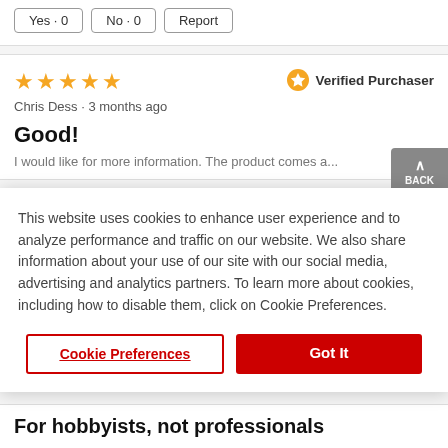Yes · 0   No · 0   Report
[Figure (other): Five gold stars rating]
Verified Purchaser
Chris Dess · 3 months ago
Good!
BACK TO TOP
This website uses cookies to enhance user experience and to analyze performance and traffic on our website. We also share information about your use of our site with our social media, advertising and analytics partners. To learn more about cookies, including how to disable them, click on Cookie Preferences.
Cookie Preferences
Got It
For hobbyists, not professionals